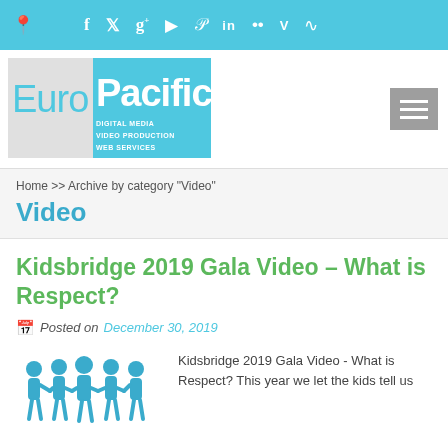EuroPacific - Digital Media, Video Production, Web Services
[Figure (logo): EuroPacific logo with cyan blue box and taglines: Digital Media, Video Production, Web Services]
Home >> Archive by category "Video"
Video
Kidsbridge 2019 Gala Video – What is Respect?
Posted on December 30, 2019
[Figure (illustration): Blue silhouette illustration of children holding hands in a chain]
Kidsbridge 2019 Gala Video - What is Respect? This year we let the kids tell us